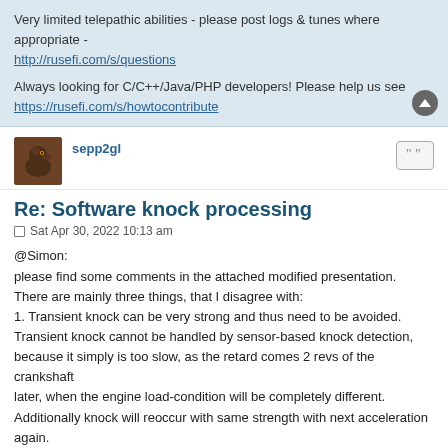Very limited telepathic abilities - please post logs & tunes where appropriate - http://rusefi.com/s/questions
Always looking for C/C++/Java/PHP developers! Please help us see https://rusefi.com/s/howtocontribute
sepp2gl
Re: Software knock processing
Sat Apr 30, 2022 10:13 am
@Simon:
please find some comments in the attached modified presentation.
There are mainly three things, that I disagree with:
1. Transient knock can be very strong and thus need to be avoided. Transient knock cannot be handled by sensor-based knock detection, because it simply is too slow, as the retard comes 2 revs of the crankshaft later, when the engine load-condition will be completely different. Additionally knock will reoccur with same strength with next acceleration again.
Better have a feed-forward spark-retard, that is dependent from the speed/load-transient but independent from the knock-sensor.

2. I made some experience with knock-retard depending on the "strength"